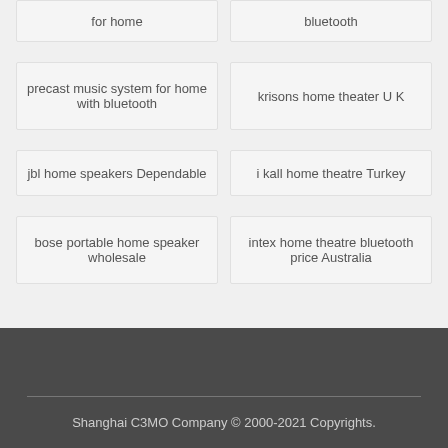for home
bluetooth
precast music system for home with bluetooth
krisons home theater U K
jbl home speakers Dependable
i kall home theatre Turkey
bose portable home speaker wholesale
intex home theatre bluetooth price Australia
Shanghai C3MO Company © 2000-2021 Copyrights.